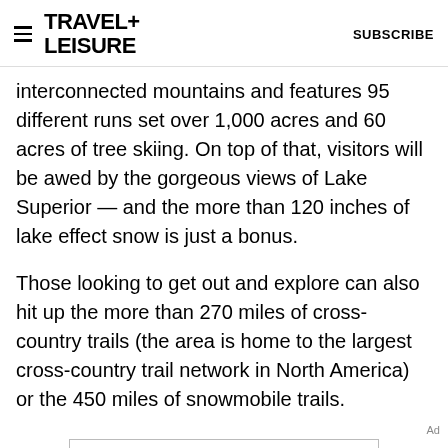TRAVEL+ LEISURE | SUBSCRIBE
interconnected mountains and features 95 different runs set over 1,000 acres and 60 acres of tree skiing. On top of that, visitors will be awed by the gorgeous views of Lake Superior — and the more than 120 inches of lake effect snow is just a bonus.
Those looking to get out and explore can also hit up the more than 270 miles of cross-country trails (the area is home to the largest cross-country trail network in North America) or the 450 miles of snowmobile trails.
Ad
[Figure (other): Advertisement banner: Venture X > Capital One]